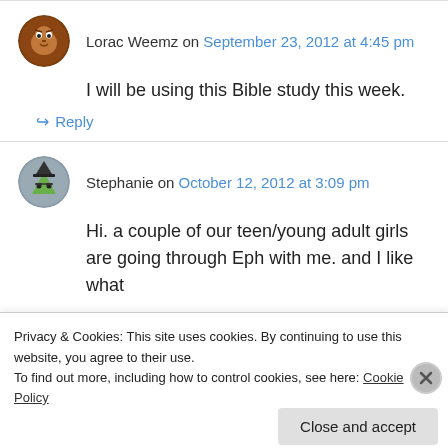Lorac Weemz on September 23, 2012 at 4:45 pm
I will be using this Bible study this week.
↪ Reply
Stephanie on October 12, 2012 at 3:09 pm
Hi. a couple of our teen/young adult girls are going through Eph with me. and I like what
Privacy & Cookies: This site uses cookies. By continuing to use this website, you agree to their use.
To find out more, including how to control cookies, see here: Cookie Policy
Close and accept